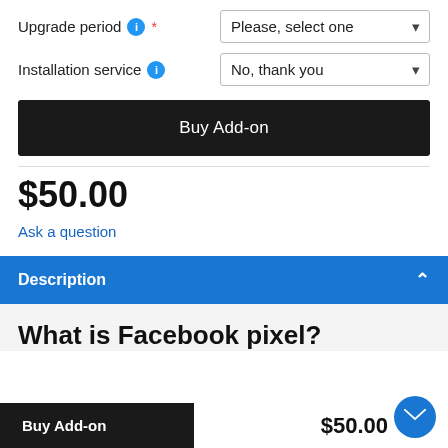Upgrade period ℹ *
Please, select one
Installation service ℹ
No, thank you
Buy Add-on
$50.00
Ask a question
Description
What is Facebook pixel?
Buy Add-on
$50.00